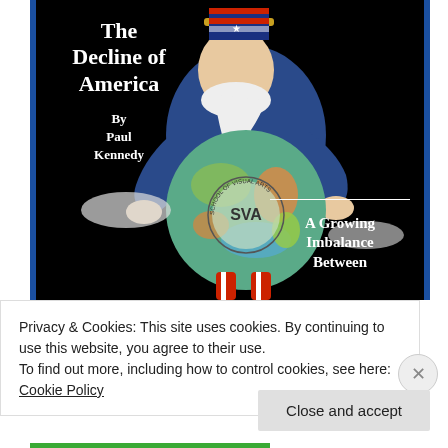[Figure (illustration): Book cover of 'The Decline of America by Paul Kennedy' showing Uncle Sam hunched over a globe stamped SVA, with red/white/blue striped pants, on a black background. Bottom right shows partial subtitle 'A Growing Imbalance Between']
Privacy & Cookies: This site uses cookies. By continuing to use this website, you agree to their use.
To find out more, including how to control cookies, see here: Cookie Policy